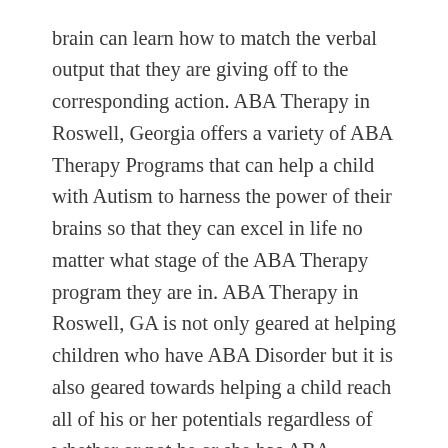brain can learn how to match the verbal output that they are giving off to the corresponding action. ABA Therapy in Roswell, Georgia offers a variety of ABA Therapy Programs that can help a child with Autism to harness the power of their brains so that they can excel in life no matter what stage of the ABA Therapy program they are in. ABA Therapy in Roswell, GA is not only geared at helping children who have ABA Disorder but it is also geared towards helping a child reach all of his or her potentials regardless of whether or not he or she has ABA Disorder. Our ABA Therapy in Roswell, GA includes the use of a variety of ABA Training Products that are used in conjunction with one another to help teach the importance of matching certain verbal outputs with corresponding ac tions. Information can be found here.
ABA Therapy in Roswell, Georgia is offered by several